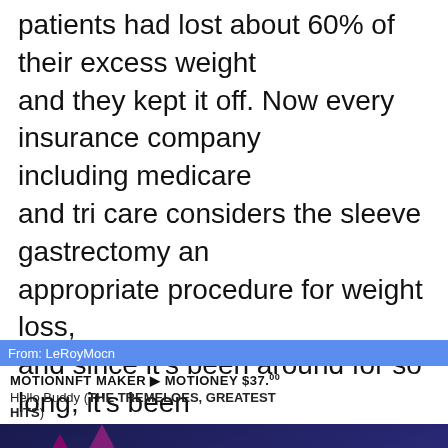patients had lost about 60% of their excess weight and they kept it off. Now every insurance company including medicare and tri care considers the sleeve gastrectomy an appropriate procedure for weight loss, and since it's been around for so long, it's been refined and well esta... take away the greate... curvature of the stom... that expands and allo... meals like on thanks... and take it out. We s... look at it on the inside and m... masses, nothing abn...
[Figure (screenshot): A Facebook Messenger popup notification from 'LeRoyMocn' showing a MotionNFT Maker message with MOTIONEY $37.00 and Hello Buddy (THE TREMELOES, GREATEST HITS), overlaid with an NFT (Non Fungible Token) promotional image featuring pink NFT text and bitcoin symbols on a dark blue background. Below is a messaging toolbar with icons.]